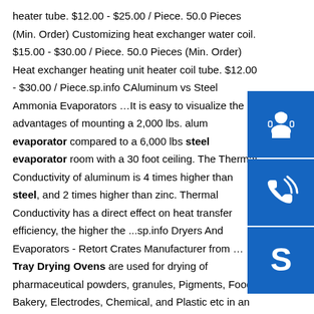heater tube. $12.00 - $25.00 / Piece. 50.0 Pieces (Min. Order) Customizing heat exchanger water coil. $15.00 - $30.00 / Piece. 50.0 Pieces (Min. Order) Heat exchanger heating unit heater coil tube. $12.00 - $30.00 / Piece.sp.info Aluminum vs Steel Ammonia Evaporators …It is easy to visualize the advantages of mounting a 2,000 lbs. aluminum evaporator compared to a 6,000 lbs steel evaporator room with a 30 foot ceiling. The Thermal Conductivity of aluminum is 4 times higher than steel, and 2 times higher than zinc. Thermal Conductivity has a direct effect on heat transfer efficiency, the higher the ...sp.info Dryers And Evaporators - Retort Crates Manufacturer from …Tray Drying Ovens are used for drying of pharmaceutical powders, granules, Pigments, Food, Bakery, Electrodes, Chemical, and Plastic etc in an effective and economical way by hot air re - circulation.
[Figure (illustration): Three blue sidebar icons: customer support (headset with person), phone/call (handset with signal), and Skype (S logo)]